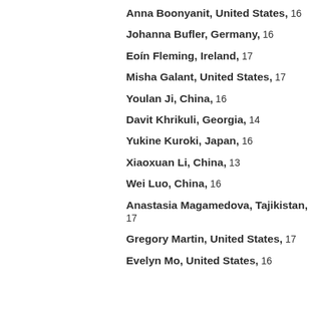Anna Boonyanit, United States, 16
Johanna Bufler, Germany, 16
Eoín Fleming, Ireland, 17
Misha Galant, United States, 17
Youlan Ji, China, 16
Davit Khrikuli, Georgia, 14
Yukine Kuroki, Japan, 16
Xiaoxuan Li, China, 13
Wei Luo, China, 16
Anastasia Magamedova, Tajikistan, 17
Gregory Martin, United States, 17
Evelyn Mo, United States, 16